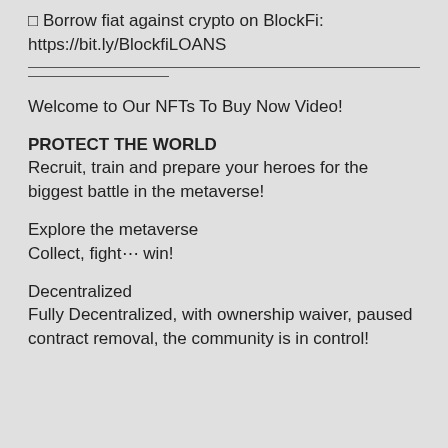⬜ Borrow fiat against crypto on BlockFi:
https://bit.ly/BlockfiLOANS
Welcome to Our NFTs To Buy Now Video!
PROTECT THE WORLD
Recruit, train and prepare your heroes for the biggest battle in the metaverse!
Explore the metaverse
Collect, fight⋯ win!
Decentralized
Fully Decentralized, with ownership waiver, paused contract removal, the community is in control!